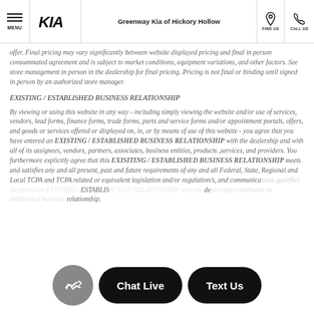MENU | Kia logo | Greenway Kia of Hickory Hollow | FIND US | CALL US
offer. Final pricing may vary significantly between website displayed pricing and final in person consummated agreement and is subject to market conditions, equipment variations, and other factors. See store management in person in the dealership for final pricing. Pricing is not final or binding until signed in person by an authorized store manager.
EXISTING / ESTABLISHED BUSINESS RELATIONSHIP
By viewing or using this website in any way - including simply viewing the website and/or use of services, vendors, lead forms, finance forms, trade forms, parts and service forms and/or appointment portals, offers, and goods or services offered or displayed on, in, or by means of use of this website - you agree that you have entered an EXISTING / ESTABLISHED BUSINESS RELATIONSHIP with the dealership and with all of its assignees, vendors, partners, associates, business entities, products ,services, and providers. You furthermore explicitly agree that this EXISITING / ESTABLISHED BUSINESS RELATIONSHIP meets and satisfies any and all present, past and future requirements of any and all Federal, State, Regional and Local TCPA and TCPA related or equivalent legislation and/or regulation/s, and communications qualified as part of an EXISTING / ESTABLISHED BUSINESS RELATIONSHIP with the dealership constitutes an established business relationship.